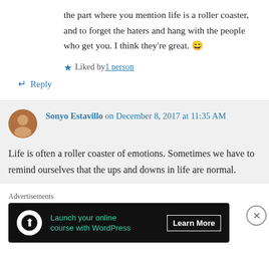the part where you mention life is a roller coaster, and to forget the haters and hang with the people who get you. I think they're great. 😄
★ Liked by 1 person
↵ Reply
Sonyo Estavillo on December 8, 2017 at 11:35 AM
Life is often a roller coaster of emotions. Sometimes we have to remind ourselves that the ups and downs in life are normal.
Advertisements
[Figure (screenshot): Advertisement banner: Launch your online course with WordPress - Learn More]